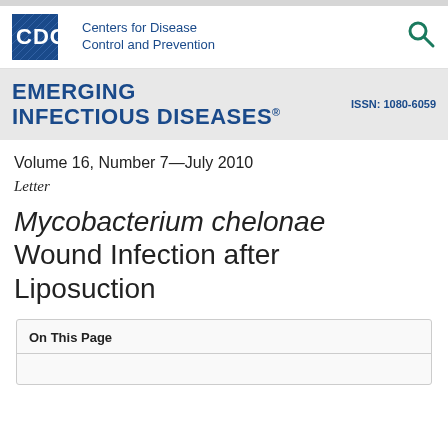CDC | Centers for Disease Control and Prevention | ISSN: 1080-6059 | EMERGING INFECTIOUS DISEASES
Volume 16, Number 7—July 2010
Letter
Mycobacterium chelonae Wound Infection after Liposuction
On This Page